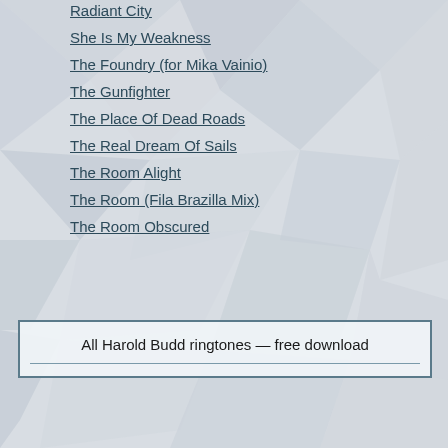Radiant City
She Is My Weakness
The Foundry (for Mika Vainio)
The Gunfighter
The Place Of Dead Roads
The Real Dream Of Sails
The Room Alight
The Room (Fila Brazilla Mix)
The Room Obscured
All Harold Budd ringtones — free download